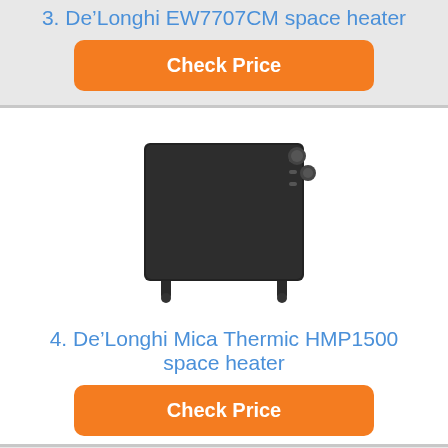3. De'Longhi EW7707CM space heater
Check Price
[Figure (photo): De'Longhi Mica Thermic HMP1500 space heater - black flat panel heater on wheeled stand]
4. De'Longhi Mica Thermic HMP1500 space heater
Check Price
[Figure (photo): Heat Storm HS-1500-PHX-WIFI space heater - white wall-mounted heater with app control]
5. Heat Storm HS-1500-PHX-WIFI space heater
Check Price